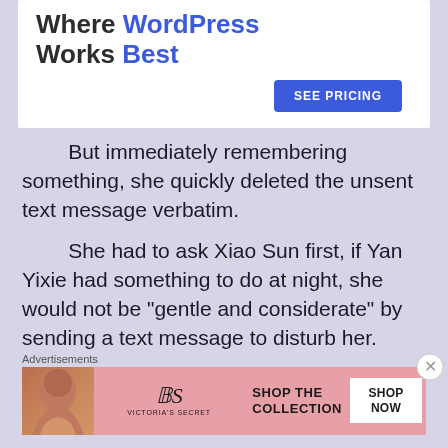[Figure (other): WordPress advertisement banner: 'Where WordPress Works Best' with SEE PRICING button on lavender/white background]
But immediately remembering something, she quickly deleted the unsent text message verbatim.
She had to ask Xiao Sun first, if Yan Yixie had something to do at night, she would not be "gentle and considerate" by sending a text message to disturb her.
Advertisements
[Figure (other): Victoria's Secret advertisement banner with model photo, logo, 'SHOP THE COLLECTION' text, and 'SHOP NOW' button]